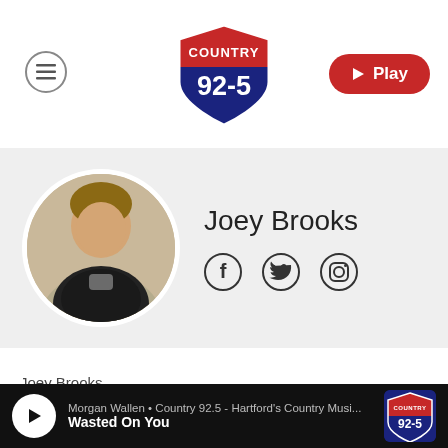[Figure (logo): Country 92-5 radio station logo — interstate highway shield shape, red top with COUNTRY text, blue bottom with 92-5 text in white]
[Figure (other): Hamburger menu button icon — three horizontal lines in a circle]
[Figure (other): Red Play button with triangle icon and text Play]
[Figure (photo): Circular profile photo of Joey Brooks, a man in a dark jacket, against a light background]
Joey Brooks
[Figure (other): Social media icons: Facebook, Twitter, Instagram]
Joey Brooks
Hospital Nurses Help
Morgan Wallen • Country 92.5 - Hartford's Country Musi...
Wasted On You